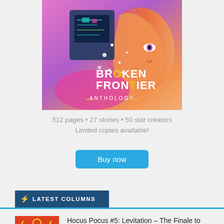[Figure (illustration): Comic book anthology cover for Broken Frontier Anthology — colorful illustration of a woman's face profile with technological/cyberpunk elements on the left side, vibrant pinks, purples, teal, and orange colors, with text 'BROKEN FRONTIER ANTHOLOGY']
312 pages • 27 stories • 50 star creators
Limited copies available!
Buy now
⚡ LATEST COLUMNS
[Figure (illustration): Comic book thumbnail showing a stylized woman with raised arms against a red/orange background with lightning bolt motifs]
Hocus Pocus #5: Levitation – The Finale to Worth and Collver's Paranormal Investigation